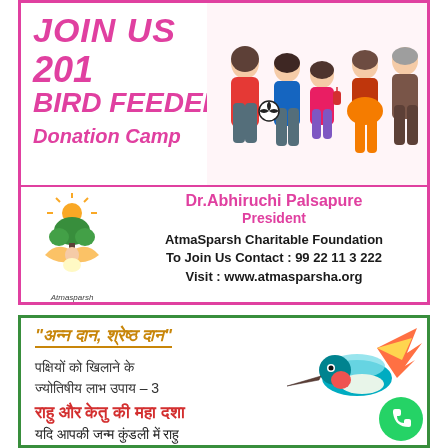JOIN US 201 BIRD FEEDER Donation Camp
[Figure (illustration): Cartoon family group with children and adults in colorful clothes]
Dr.Abhiruchi Palsapure President AtmaSparsh Charitable Foundation To Join Us Contact : 99 22 11 3 222 Visit : www.atmasparsha.org
[Figure (logo): AtmaSparsh logo with sun, tree and meditative figure]
"अन्न दान, श्रेष्ठ दान" पक्षियों को खिलाने के ज्योतिषीय लाभ उपाय – 3 राहु और केतु की महा दशा यदि आपकी जन्म कुंडली में राहु
[Figure (illustration): Colorful hummingbird illustration]
[Figure (illustration): WhatsApp icon green circle]